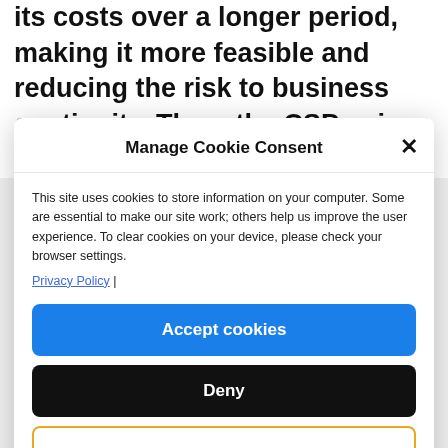its costs over a longer period, making it more feasible and reducing the risk to business continuity. Thus, the CSP enjoys the advantages of both options
Manage Cookie Consent
This site uses cookies to store information on your computer. Some are essential to make our site work; others help us improve the user experience. To clear cookies on your device, please check your browser settings.
Privacy Policy |
Accept cookies
Deny
Cookie Policy  Privacy